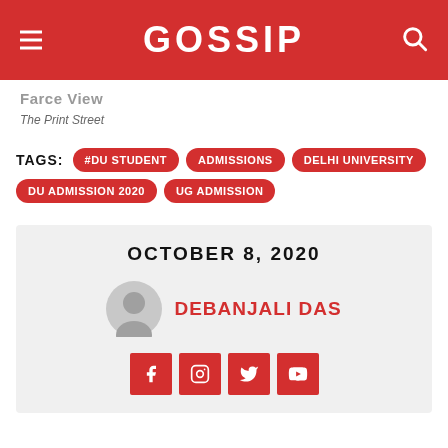GOSSIP
Partial title (cut off)
The Print Street
TAGS: #DU STUDENT, ADMISSIONS, DELHI UNIVERSITY, DU ADMISSION 2020, UG ADMISSION
OCTOBER 8, 2020
DEBANJALI DAS
[Figure (other): Social media icons: Facebook, Instagram, Twitter, YouTube]